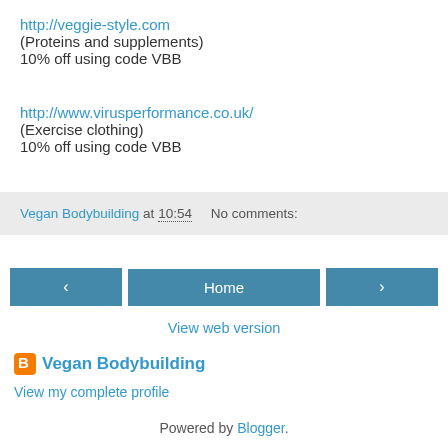http://veggie-style.com
(Proteins and supplements)
10% off using code VBB
http://www.virusperformance.co.uk/
(Exercise clothing)
10% off using code VBB
Vegan Bodybuilding at 10:54    No comments:
< Home >
View web version
Vegan Bodybuilding
View my complete profile
Powered by Blogger.